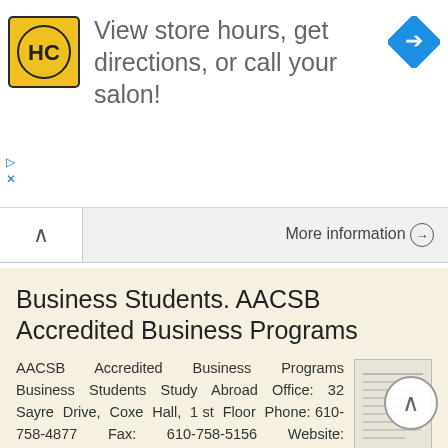[Figure (infographic): Advertisement banner with HC salon logo and direction icon. Text: 'View store hours, get directions, or call your salon!']
More information →
Business Students. AACSB Accredited Business Programs
AACSB Accredited Business Programs Business Students Study Abroad Office: 32 Sayre Drive, Coxe Hall, 1 st Floor Phone: 610-758-4877 Fax: 610-758-5156 Website: www.lehigh.edu/studyabroad Email: incis@lehigh.edu
More information →
CENTRAL MICHIGAN UNIVERSITY COLLEGE OF EDUCATION AND HUMAN SERVICES